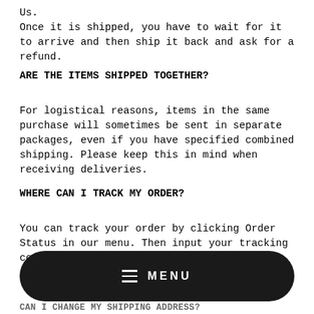Us.
Once it is shipped, you have to wait for it to arrive and then ship it back and ask for a refund.
ARE THE ITEMS SHIPPED TOGETHER?
For logistical reasons, items in the same purchase will sometimes be sent in separate packages, even if you have specified combined shipping. Please keep this in mind when receiving deliveries.
WHERE CAN I TRACK MY ORDER?
You can track your order by clicking Order Status in our menu. Then input your tracking code you received in the email once
[Figure (other): Black rounded rectangle navigation menu bar with hamburger icon and MENU text in white]
CAN I CHANGE MY SHIPPING ADDRESS?